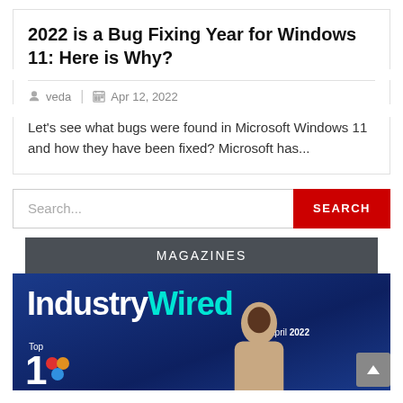2022 is a Bug Fixing Year for Windows 11: Here is Why?
veda  |  Apr 12, 2022
Let's see what bugs were found in Microsoft Windows 11 and how they have been fixed? Microsoft has...
Search...
MAGAZINES
[Figure (screenshot): IndustryWired magazine cover — April 2022. Blue background with large white bold text 'Industry' and cyan text 'Wired', showing 'Top 1' with colorful logo dots and a partial portrait of a person.]